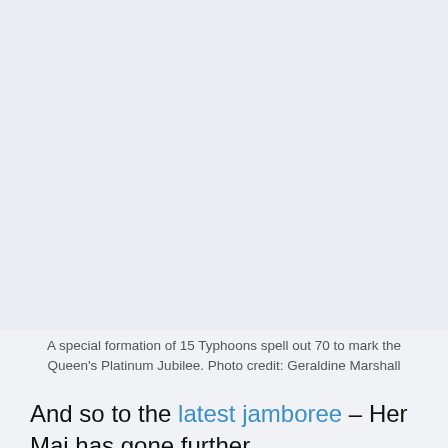[Figure (photo): A photo placeholder showing a grey/light blue background where an image of 15 Typhoons in a special formation spelling out 70 would appear.]
A special formation of 15 Typhoons spell out 70 to mark the Queen's Platinum Jubilee. Photo credit: Geraldine Marshall
And so to the latest jamboree – Her Maj has gone further